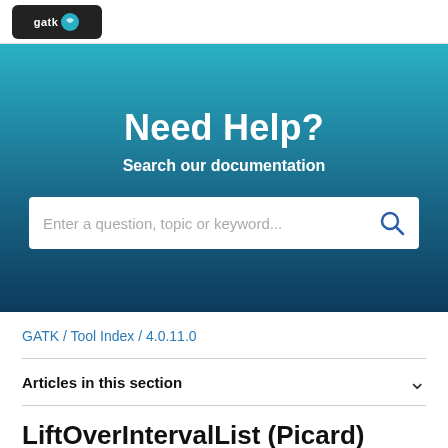[Figure (logo): GATK logo on white header bar]
[Figure (screenshot): Help center hero banner with teal-to-dark-blue gradient, 'Need Help?' heading, 'Search our documentation' subtitle, and a search input box with placeholder text 'Enter a question, topic or keyword...']
GATK / Tool Index / 4.0.11.0
Articles in this section
LiftOverIntervalList (Picard)